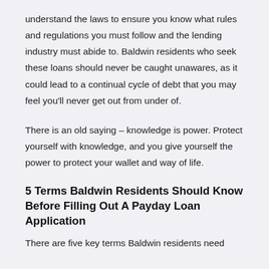understand the laws to ensure you know what rules and regulations you must follow and the lending industry must abide to. Baldwin residents who seek these loans should never be caught unawares, as it could lead to a continual cycle of debt that you may feel you'll never get out from under of.
There is an old saying – knowledge is power. Protect yourself with knowledge, and you give yourself the power to protect your wallet and way of life.
5 Terms Baldwin Residents Should Know Before Filling Out A Payday Loan Application
There are five key terms Baldwin residents need